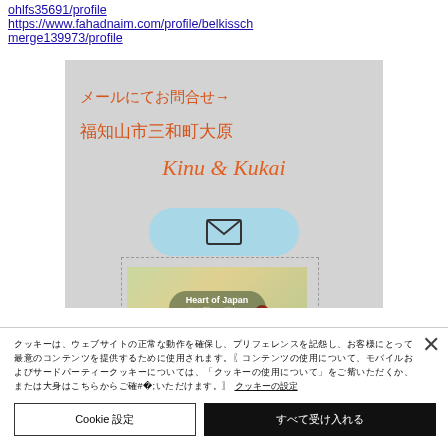ohlfs35691/profile
https://www.fahadnaim.com/profile/belkisschmerge139973/profile
[Figure (screenshot): Screenshot of a Japanese website 'Kinu & Kukai' showing handwritten-style orange Japanese text 'メールにてお問合せ→' and '福知山市三和町大原', italic orange title 'Kinu & Kukai', a light blue rounded email button with envelope icon, and a partial 'Feast of Japan' promotional image with a red dot overlay.]
Cookie consent banner with Japanese text and underlined link, close button (×), 'Cookie 設定' button and black accept button with Japanese characters.